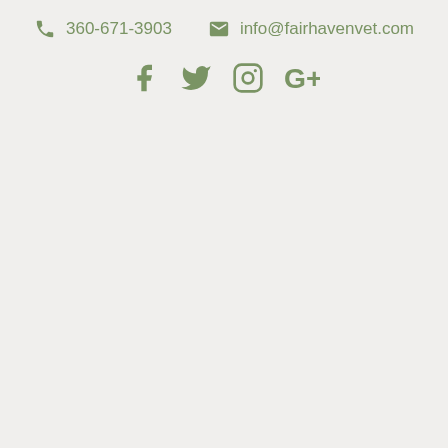360-671-3903   info@fairhavenvet.com
[Figure (other): Social media icons: Facebook, Twitter, Instagram, Google+]